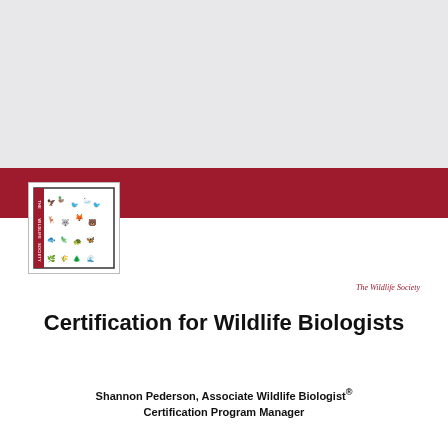[Figure (logo): The Wildlife Society logo — a square border with wildlife silhouettes and text 'THE WILDLIFE SOCIETY' on the left side]
The Wildlife Society
Certification for Wildlife Biologists
Shannon Pederson, Associate Wildlife Biologist® Certification Program Manager